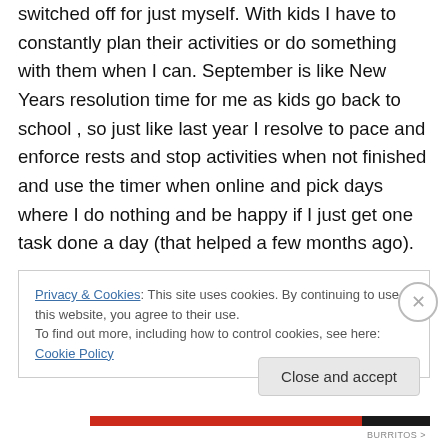switched off for just myself. With kids I have to constantly plan their activities or do something with them when I can. September is like New Years resolution time for me as kids go back to school , so just like last year I resolve to pace and enforce rests and stop activities when not finished and use the timer when online and pick days where I do nothing and be happy if I just get one task done a day (that helped a few months ago).
Privacy & Cookies: This site uses cookies. By continuing to use this website, you agree to their use. To find out more, including how to control cookies, see here: Cookie Policy
Close and accept